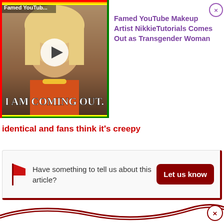[Figure (screenshot): Video thumbnail showing a blonde woman with text 'I AM COMING OUT.' overlaid, with a play button, and rainbow border. Title label 'Famed YouTub...' visible in top left corner.]
Famed YouTube Makeup Artist NikkieTutorials Comes Out as Transgender Woman
identical and fans think it's creepy
Have something to tell us about this article?
Let us know